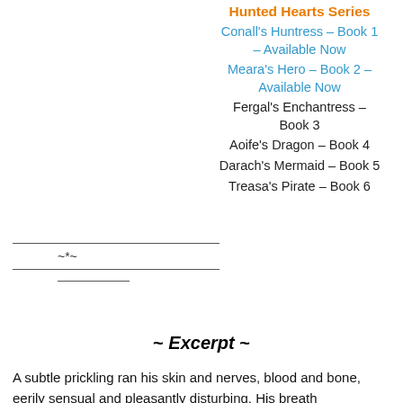Hunted Hearts Series
Conall's Huntress – Book 1 – Available Now
Meara's Hero – Book 2 – Available Now
Fergal's Enchantress – Book 3
Aoife's Dragon – Book 4
Darach's Mermaid – Book 5
Treasa's Pirate – Book 6
~ Excerpt ~
A subtle prickling ran his skin and nerves, blood and bone, eerily sensual and pleasantly disturbing. His breath